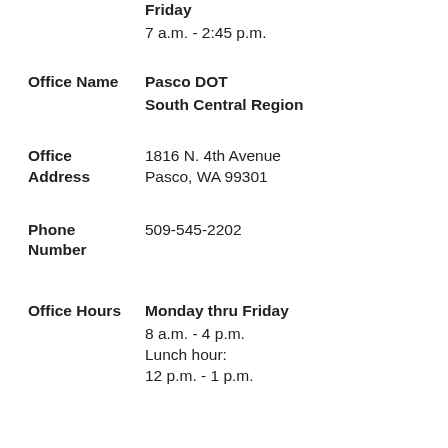Friday
7 a.m. - 2:45 p.m.
Office Name
Pasco DOT
South Central Region
Office Address
1816 N. 4th Avenue
Pasco, WA 99301
Phone Number
509-545-2202
Office Hours
Monday thru Friday
8 a.m. - 4 p.m.
Lunch hour:
12 p.m. - 1 p.m.